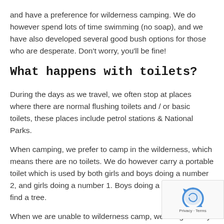and have a preference for wilderness camping. We do however spend lots of time swimming (no soap), and we have also developed several good bush options for those who are desperate. Don't worry, you'll be fine!
What happens with toilets?
During the days as we travel, we often stop at places where there are normal flushing toilets and / or basic toilets, these places include petrol stations & National Parks.
When camping, we prefer to camp in the wilderness, which means there are no toilets. We do however carry a portable toilet which is used by both girls and boys doing a number 2, and girls doing a number 1. Boys doing a number 1 can find a tree.
When we are unable to wilderness camp, we are generally using a National Park campground, these are normally equipped with basic toilets.